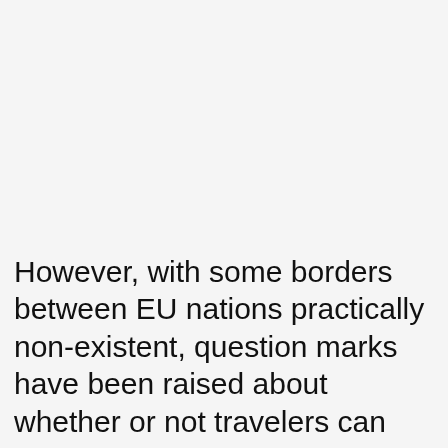[Figure (screenshot): UI overlay buttons: teal heart/like button, a count of 261, and a share button with plus icon, positioned in the lower-right area of the page over a light gray background.]
However, with some borders between EU nations practically non-existent, question marks have been raised about whether or not travelers can